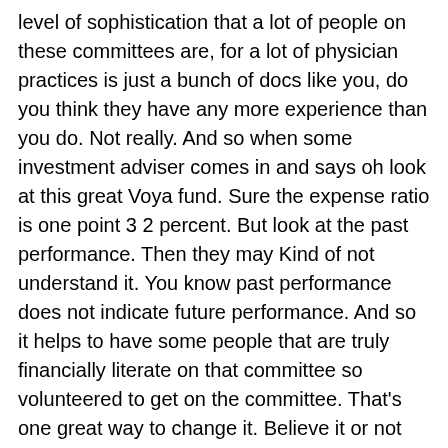level of sophistication that a lot of people on these committees are, for a lot of physician practices is just a bunch of docs like you, do you think they have any more experience than you do. Not really. And so when some investment adviser comes in and says oh look at this great Voya fund. Sure the expense ratio is one point 3 2 percent. But look at the past performance. Then they may Kind of not understand it. You know past performance does not indicate future performance. And so it helps to have some people that are truly financially literate on that committee so volunteered to get on the committee. That's one great way to change it. Believe it or not my 401k with my partnership used to be mostly actively managed funds and over the years it's been changed to be index funds.